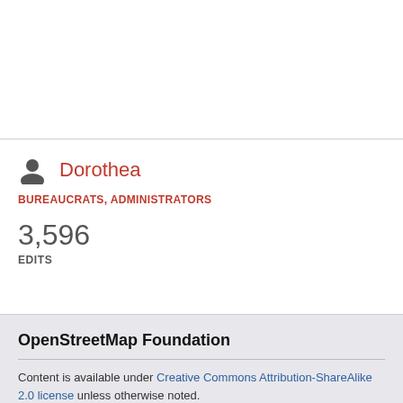[Figure (illustration): Blank white top section of a webpage]
Dorothea
BUREAUCRATS, ADMINISTRATORS
3,596
EDITS
OpenStreetMap Foundation
Content is available under Creative Commons Attribution-ShareAlike 2.0 license unless otherwise noted.